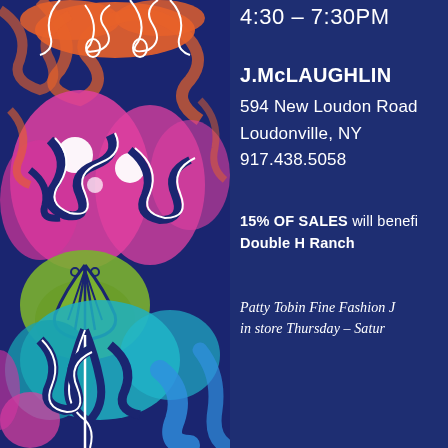[Figure (illustration): Colorful decorative floral/damask pattern in navy, orange, pink, green, teal, and blue on the left half of the page]
4:30 – 7:30PM
J.McLAUGHLIN
594 New Loudon Road
Loudonville, NY
917.438.5058
15% OF SALES will benefit Double H Ranch
Patty Tobin Fine Fashion J... in store Thursday – Satur...